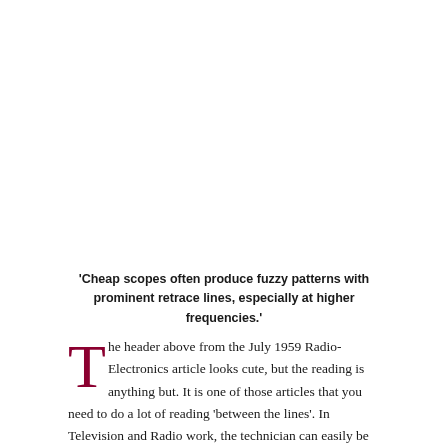'Cheap scopes often produce fuzzy patterns with prominent retrace lines, especially at higher frequencies.'
The header above from the July 1959 Radio-Electronics article looks cute, but the reading is anything but. It is one of those articles that you need to do a lot of reading 'between the lines'. In Television and Radio work, the technician can easily be misled by his interpretation of